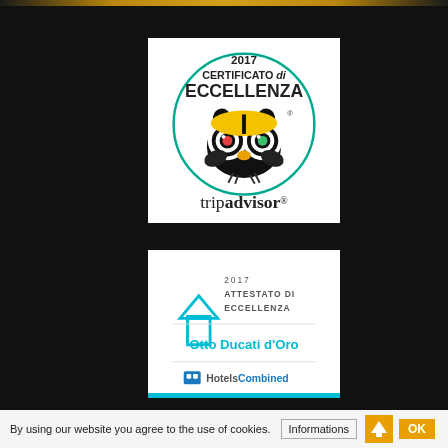[Figure (logo): TripAdvisor 2017 Certificato di Eccellenza badge with owl logo and teal circle border]
[Figure (logo): HotelsCombined 2017 Attestato di Eccellenza badge for Otto Ducati d'Oro]
By using our website you agree to the use of cookies. Informations OK